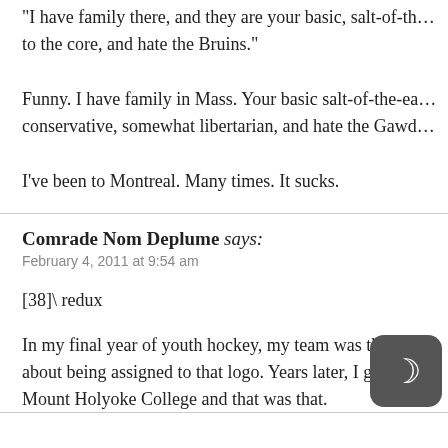“I have family there, and they are your basic, salt-of-th… to the core, and hate the Bruins.”
Funny. I have family in Mass. Your basic salt-of-the-ea… conservative, somewhat libertarian, and hate the Gawd…
I’ve been to Montreal. Many times. It sucks.
Comrade Nom Deplume says:
February 4, 2011 at 9:54 am
[38]\ redux
In my final year of youth hockey, my team was the Ca… about being assigned to that logo. Years later, I gave m… Mount Holyoke College and that was that.